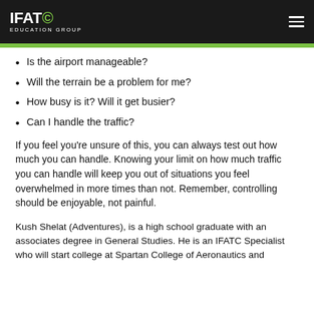IFATC EDUCATION GROUP
Is the airport manageable?
Will the terrain be a problem for me?
How busy is it? Will it get busier?
Can I handle the traffic?
If you feel you're unsure of this, you can always test out how much you can handle. Knowing your limit on how much traffic you can handle will keep you out of situations you feel overwhelmed in more times than not. Remember, controlling should be enjoyable, not painful.
Kush Shelat (Adventures), is a high school graduate with an associates degree in General Studies. He is an IFATC Specialist who will start college at Spartan College of Aeronautics and